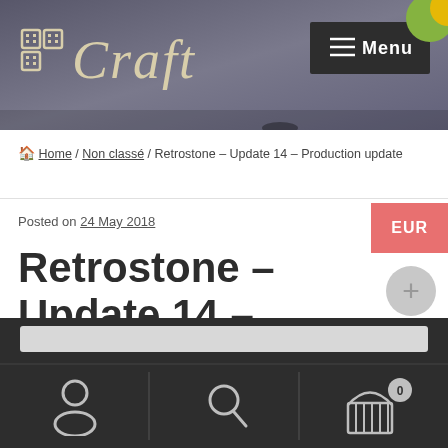[Figure (screenshot): Website header banner with 'BBCraft' logo and dark Menu button on grey/purple background]
🏠 Home / Non classé / Retrostone – Update 14 – Production update
Posted on 24 May 2018
Retrostone – Update 14 – Production
[Figure (screenshot): Bottom navigation bar with user icon, search icon, and cart icon (badge showing 0), plus a search input field]